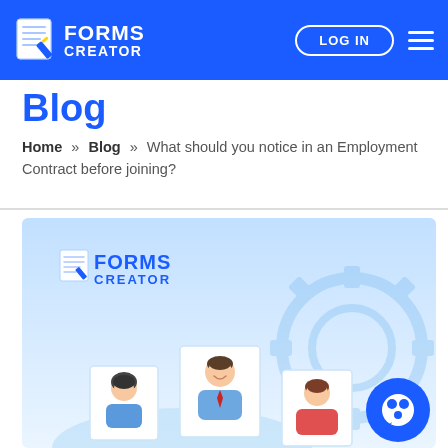FORMS CREATOR — LOG IN
Blog
Home » Blog » What should you notice in an Employment Contract before joining?
[Figure (illustration): Forms Creator branded illustration showing three employee portrait cards with person avatars, a large gear/cog, and a blue chat bubble circle in the bottom right. Light blue gradient background. Forms Creator logo visible at top left of image.]